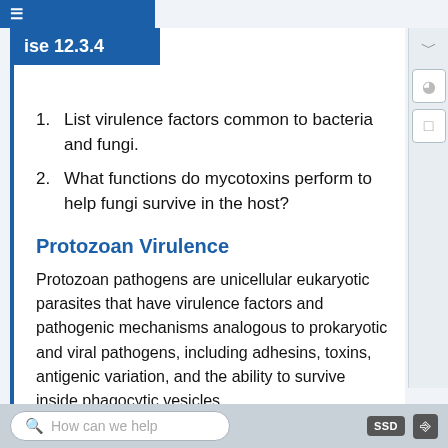≡  ise 12.3.4
1. List virulence factors common to bacteria and fungi.
2. What functions do mycotoxins perform to help fungi survive in the host?
Protozoan Virulence
Protozoan pathogens are unicellular eukaryotic parasites that have virulence factors and pathogenic mechanisms analogous to prokaryotic and viral pathogens, including adhesins, toxins, antigenic variation, and the ability to survive inside phagocytic vesicles.
How can we help   SSD